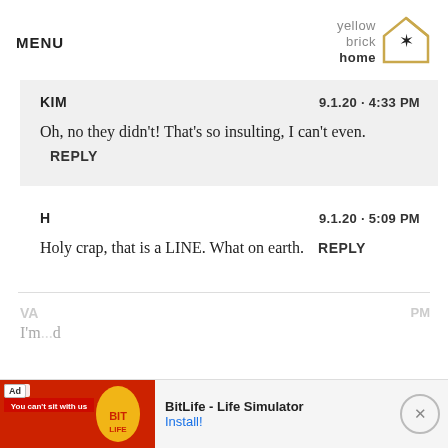MENU | yellow brick home
KIM  9.1.20 - 4:33 PM
Oh, no they didn't! That's so insulting, I can't even.  REPLY
H  9.1.20 - 5:09 PM
Holy crap, that is a LINE. What on earth.  REPLY
VA  ...  PM
I'm...  d
[Figure (screenshot): Advertisement banner for BitLife - Life Simulator with red background and Install button]